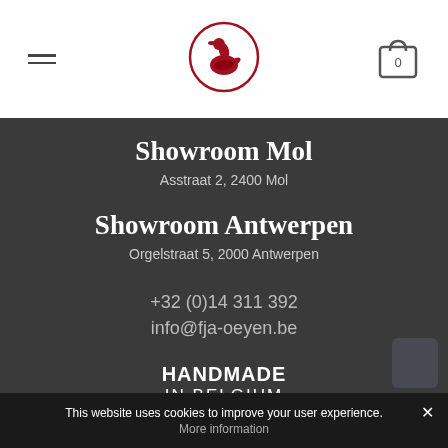Navigation header with logo (goose in circle), hamburger menu, and cart icon
Showroom Mol
Asstraat 2, 2400 Mol
Showroom Antwerpen
Orgelstraat 5, 2000 Antwerpen
+32 (0)14 311 392
info@fja-oeyen.be
HANDMADE IN BELGIUM
This website uses cookies to improve your user experience. ✕
More information